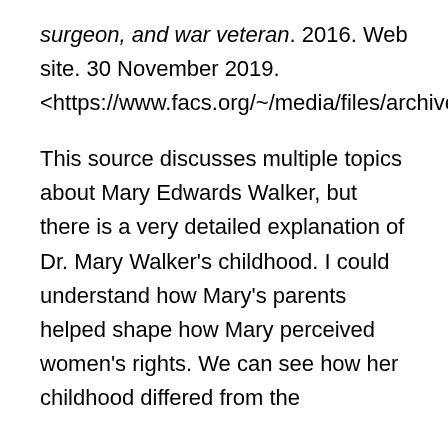surgeon, and war veteran. 2016. Web site. 30 November 2019. <https://www.facs.org/~/media/files/archives/shg%20poster/2016/06_walker.ashx>.
This source discusses multiple topics about Mary Edwards Walker, but there is a very detailed explanation of Dr. Mary Walker's childhood. I could understand how Mary's parents helped shape how Mary perceived women's rights. We can see how her childhood differed from the